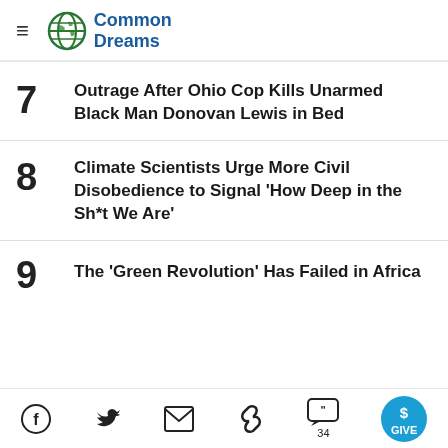Common Dreams
7 Outrage After Ohio Cop Kills Unarmed Black Man Donovan Lewis in Bed
8 Climate Scientists Urge More Civil Disobedience to Signal 'How Deep in the Sh*t We Are'
9 The 'Green Revolution' Has Failed in Africa
Facebook Twitter Email Link Comments 34 GIVE